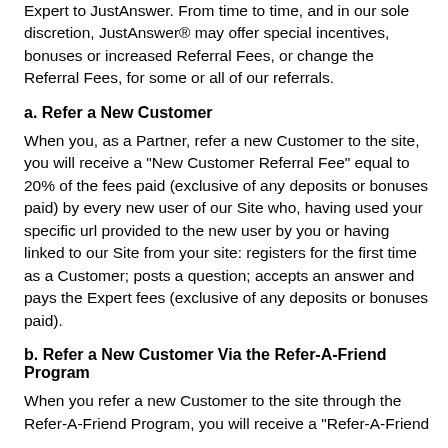Expert to JustAnswer. From time to time, and in our sole discretion, JustAnswer® may offer special incentives, bonuses or increased Referral Fees, or change the Referral Fees, for some or all of our referrals.
a. Refer a New Customer
When you, as a Partner, refer a new Customer to the site, you will receive a "New Customer Referral Fee" equal to 20% of the fees paid (exclusive of any deposits or bonuses paid) by every new user of our Site who, having used your specific url provided to the new user by you or having linked to our Site from your site: registers for the first time as a Customer; posts a question; accepts an answer and pays the Expert fees (exclusive of any deposits or bonuses paid).
b. Refer a New Customer Via the Refer-A-Friend Program
When you refer a new Customer to the site through the Refer-A-Friend Program, you will receive a "Refer-A-Friend